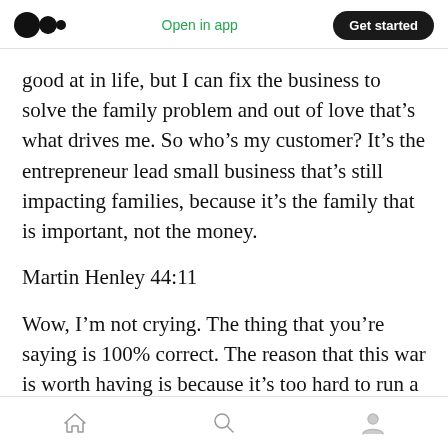Open in app | Get started
good at in life, but I can fix the business to solve the family problem and out of love that's what drives me. So who's my customer? It's the entrepreneur lead small business that's still impacting families, because it's the family that is important, not the money.
Martin Henley 44:11
Wow, I'm not crying. The thing that you're saying is 100% correct. The reason that this war is worth having is because it's too hard to run a business and it is too close to people's well being